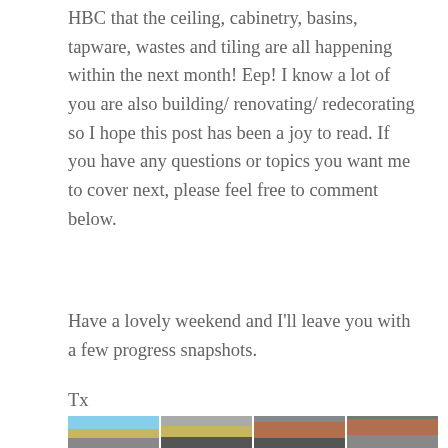HBC that the ceiling, cabinetry, basins, tapware, wastes and tiling are all happening within the next month! Eep! I know a lot of you are also building/ renovating/ redecorating so I hope this post has been a joy to read. If you have any questions or topics you want me to cover next, please feel free to comment below.
Have a lovely weekend and I'll leave you with a few progress snapshots.
Tx
[Figure (photo): A row of construction progress photos showing a building site with foundations, framing poles, brick walls and an interior corridor under construction.]